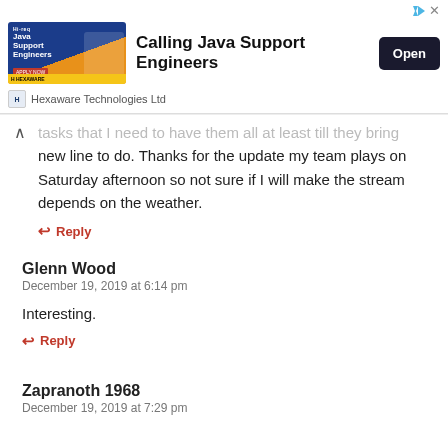[Figure (other): Advertisement banner for Hexaware Technologies Ltd - Calling Java Support Engineers with an Open button]
...tasks that I need to have them all at least till they bring new line to do. Thanks for the update my team plays on Saturday afternoon so not sure if I will make the stream depends on the weather.
↩ Reply
Glenn Wood
December 19, 2019 at 6:14 pm
Interesting.
↩ Reply
Zapranoth 1968
December 19, 2019 at 7:29 pm